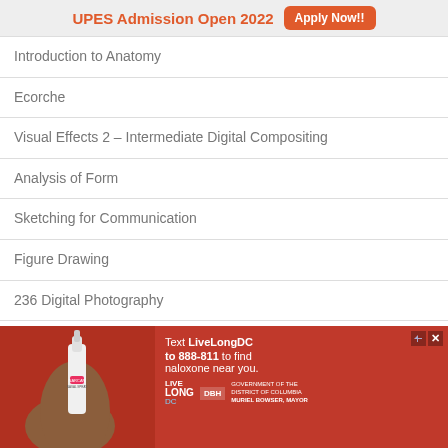[Figure (infographic): UPES Admission Open 2022 banner with Apply Now button]
Introduction to Anatomy
Ecorche
Visual Effects 2 – Intermediate Digital Compositing
Analysis of Form
Sketching for Communication
Figure Drawing
236 Digital Photography
Producing for Animation & Visual Effects 1
Color Fundamentals
[Figure (infographic): Red advertisement banner: Text LiveLongDC to 888-811 to find naloxone near you. Shows hand holding nasal spray. Live Long DC, DBH, Government of the District of Columbia, Muriel Bowser Mayor logos.]